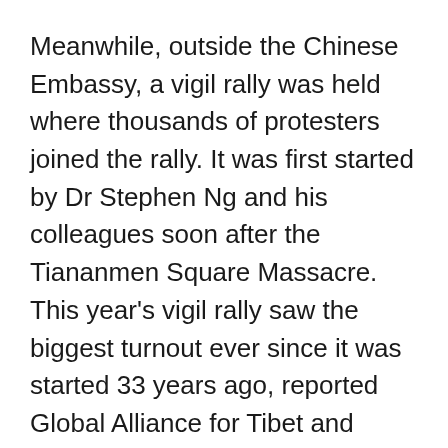Meanwhile, outside the Chinese Embassy, a vigil rally was held where thousands of protesters joined the rally. It was first started by Dr Stephen Ng and his colleagues soon after the Tiananmen Square Massacre. This year's vigil rally saw the biggest turnout ever since it was started 33 years ago, reported Global Alliance for Tibet and Persecuted Minorities.
Upon this rally, two young international journalists from Cardiff University made a documentary where they shot the rally and said that these protests demand the